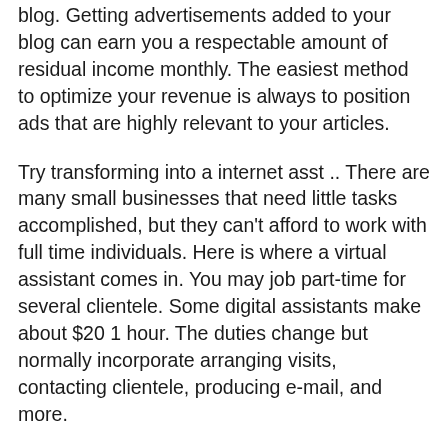blog. Getting advertisements added to your blog can earn you a respectable amount of residual income monthly. The easiest method to optimize your revenue is always to position ads that are highly relevant to your articles.
Try transforming into a internet asst .. There are many small businesses that need little tasks accomplished, but they can't afford to work with full time individuals. Here is where a virtual assistant comes in. You may job part-time for several clientele. Some digital assistants make about $20 1 hour. The duties change but normally incorporate arranging visits, contacting clientele, producing e-mail, and more.
How can you change your the real world work right into a 2nd revenue on-line? If you are a carpenter by